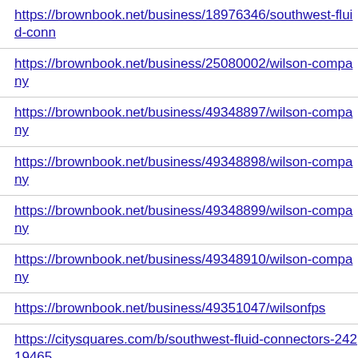https://brownbook.net/business/18976346/southwest-fluid-conn...
https://brownbook.net/business/25080002/wilson-company
https://brownbook.net/business/49348897/wilson-company
https://brownbook.net/business/49348898/wilson-company
https://brownbook.net/business/49348899/wilson-company
https://brownbook.net/business/49348910/wilson-company
https://brownbook.net/business/49351047/wilsonfps
https://citysquares.com/b/southwest-fluid-connectors-24219465...
https://citysquares.com/b/wilson-company-11713776
https://citysquares.com/b/wilson-company-11912636
https://citysquares.com/b/wilson-company-12292369
https://citysquares.com/b/wilson-company-13162720